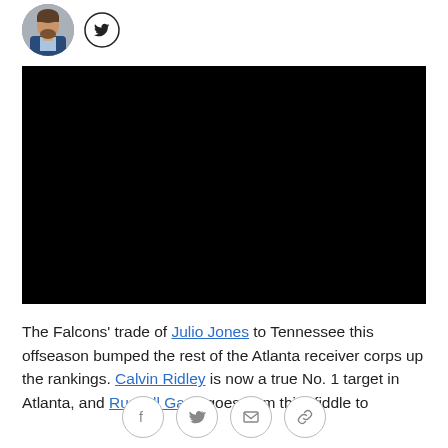[Figure (photo): Author avatar photo (headshot of a man in a suit) with a Twitter bird icon circle next to it]
[Figure (screenshot): Black video player embed block]
The Falcons' trade of Julio Jones to Tennessee this offseason bumped the rest of the Atlanta receiver corps up the rankings. Calvin Ridley is now a true No. 1 target in Atlanta, and Russell Gage goes from third fiddle to
[Figure (infographic): Social share bar with Facebook, Twitter, email, and link icons in circles]